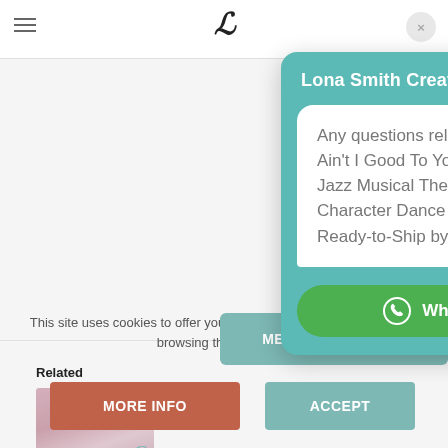[Figure (screenshot): Website header with hamburger menu icon and logo]
[Figure (screenshot): Chat popup overlay with teal background showing WhatsApp contact widget for Lona Smith Creates with greeting message about Gee Baby Ain't I Good To You Child XS Lyrical Jazz Musical Theater Tina Carlisle Character Dance Custom Costume Ready-to-Ship by ContenderWear and a Whatsapp Us button]
Related
[Figure (photo): Related product image showing a dance costume]
This site uses cookies to offer you a better browsing experience. By browsing this w... coo...
[Figure (screenshot): MESSAGE US HERE teal button]
MORE INFO
ACCEPT